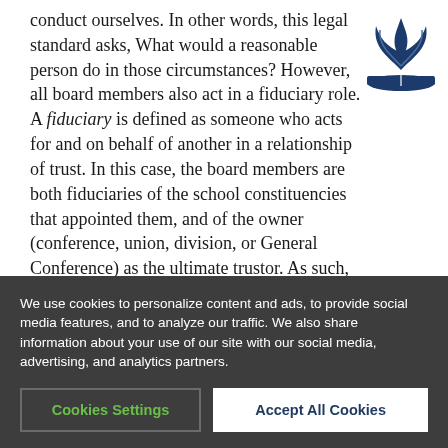conduct ourselves. In other words, this legal standard asks, What would a reasonable person do in those circumstances? However, all board members also act in a fiduciary role. A fiduciary is defined as someone who acts for and on behalf of another in a relationship of trust. In this case, the board members are both fiduciaries of the school constituencies that appointed them, and of the owner (conference, union, division, or General Conference) as the ultimate trustor. As such, this fiduciary responsibility requires that every action or decision that a board member takes must be
[Figure (logo): Seventh-day Adventist logo — stylized flame/wing above an open book, dark navy blue color]
We use cookies to personalize content and ads, to provide social media features, and to analyze our traffic. We also share information about your use of our site with our social media, advertising, and analytics partners.